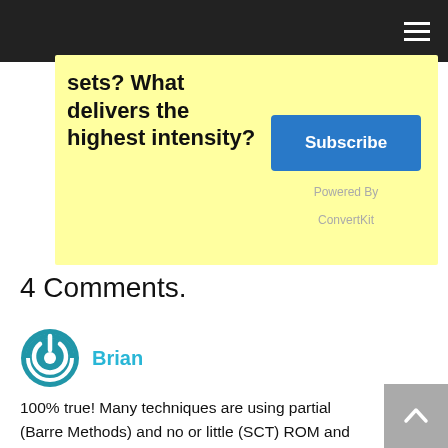sets? What delivers the highest intensity?
Subscribe
Powered By
ConvertKit
4 Comments.
Brian
100% true! Many techniques are using partial (Barre Methods) and no or little (SCT) ROM and the "real" studies are showing that joint strength and flexibility can actually be increased. And, the muscle density added of these techniques are phenominal. When you train at that strong